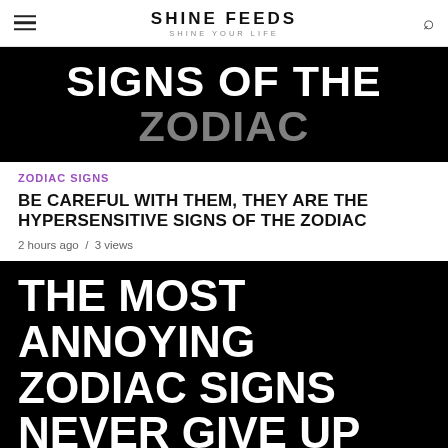SHINE FEEDS — SHINE YOUR LIFE
[Figure (illustration): Black background image with white bold text reading 'SIGNS OF THE ZODIAC' partially visible (cropped at top)]
ZODIAC SIGNS
BE CAREFUL WITH THEM, THEY ARE THE HYPERSENSITIVE SIGNS OF THE ZODIAC
2 hours ago / 3 views
[Figure (illustration): Black background image with white bold text reading 'THE MOST ANNOYING ZODIAC SIGNS NEVER GIVE UP']